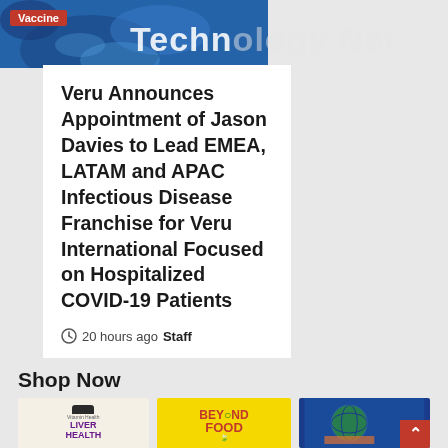[Figure (photo): Blue-toned medical/vaccine image background with a red 'Vaccine' badge label in the top left]
Technology Net
Veru Announces Appointment of Jason Davies to Lead EMEA, LATAM and APAC Infectious Disease Franchise for Veru International Focused on Hospitalized COVID-19 Patients
20 hours ago  Staff
Shop Now
[Figure (photo): Liver Health supplement bottle product thumbnail]
[Figure (photo): Beyond Food book cover with yellow background and green apple graphic]
[Figure (photo): Blue globe/earth book cover with red scroll-to-top button overlay]